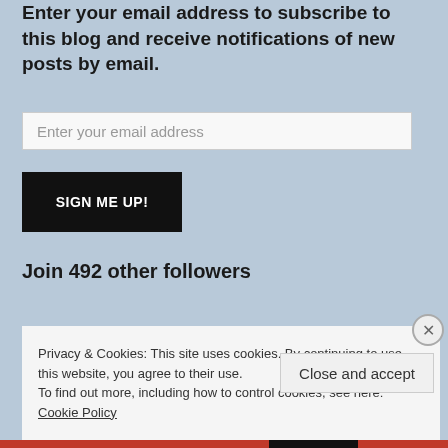Enter your email address to subscribe to this blog and receive notifications of new posts by email.
[Figure (other): Email address input field with placeholder text 'Enter your email address']
[Figure (other): Black button with white bold text 'SIGN ME UP!']
Join 492 other followers
Privacy & Cookies: This site uses cookies. By continuing to use this website, you agree to their use.
To find out more, including how to control cookies, see here: Cookie Policy
[Figure (other): Close and accept button]